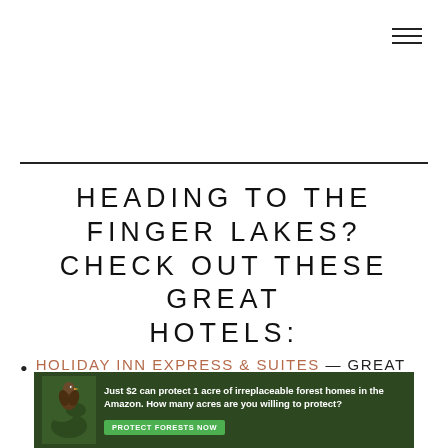[Figure (other): Hamburger menu icon (three horizontal lines) in top right corner]
HEADING TO THE FINGER LAKES? CHECK OUT THESE GREAT HOTELS:
HOLIDAY INN EXPRESS & SUITES — GREAT VALUE
[Figure (other): Advertisement banner: dark green background with bird illustration. Text reads 'Just $2 can protect 1 acre of irreplaceable forest homes in the Amazon. How many acres are you willing to protect?' with a green 'PROTECT FORESTS NOW' button.]